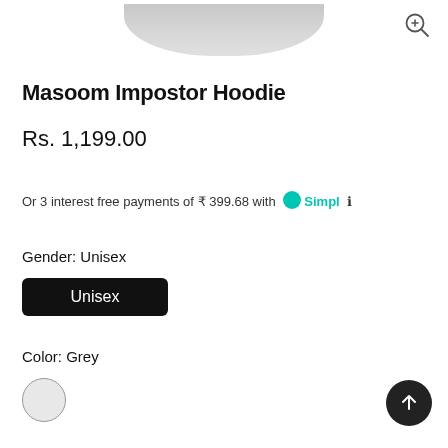[Figure (photo): Partial top view of a grey hoodie product image, cropped at the top of the page]
Masoom Impostor Hoodie
Rs. 1,199.00
Or 3 interest free payments of ₹ 399.68 with Simpl ℹ
Gender: Unisex
Unisex
Color: Grey
[Figure (other): Grey color swatch circle]